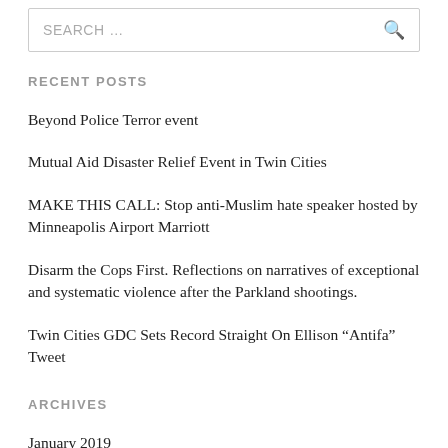SEARCH ...
RECENT POSTS
Beyond Police Terror event
Mutual Aid Disaster Relief Event in Twin Cities
MAKE THIS CALL: Stop anti-Muslim hate speaker hosted by Minneapolis Airport Marriott
Disarm the Cops First. Reflections on narratives of exceptional and systematic violence after the Parkland shootings.
Twin Cities GDC Sets Record Straight On Ellison “Antifa” Tweet
ARCHIVES
January 2019